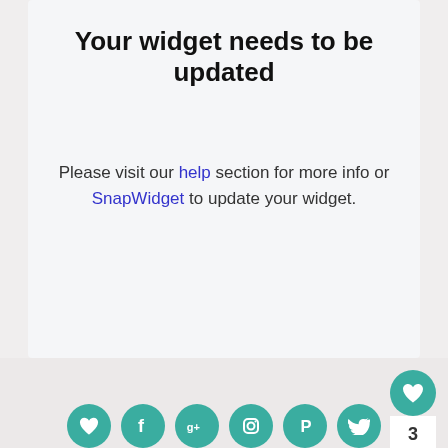Your widget needs to be updated
Please visit our help section for more info or SnapWidget to update your widget.
[Figure (infographic): Social media share buttons row: heart/like, Facebook, Google+, Instagram, Pinterest, Twitter icons in teal circles at bottom. Like button with count 3 and share button on right side.]